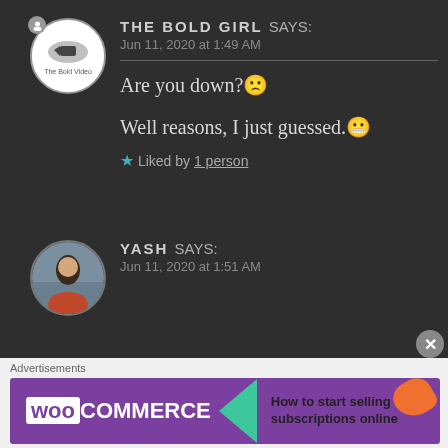THE BOLD GIRL says: Jun 11, 2020 at 1:49 AM
Are you down?🤔 Well reasons, I just guessed.😬
★ Liked by 1 person
YASH says: Jun 11, 2020 at 1:51 AM
Advertisements
[Figure (other): WooCommerce advertisement banner: 'How to start selling subscriptions online']